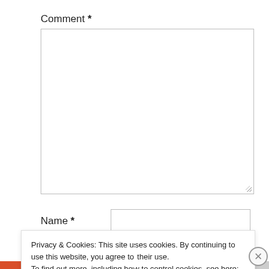Comment *
[Figure (other): Empty comment text area input field with resize handle in bottom right corner]
Name *
[Figure (other): Empty name text input field]
Privacy & Cookies: This site uses cookies. By continuing to use this website, you agree to their use.
To find out more, including how to control cookies, see here: Cookie Policy
Close and accept